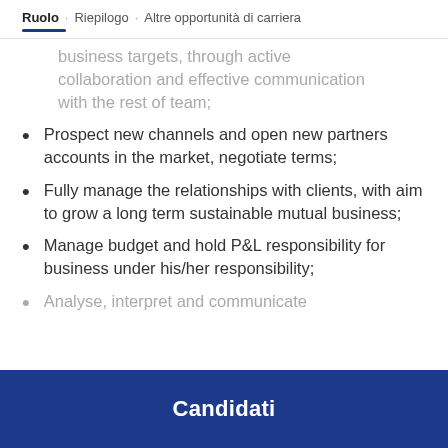Ruolo · Riepilogo · Altre opportunità di carriera
business targets, through active collaboration and effective communication with the rest of team;
Prospect new channels and open new partners accounts in the market, negotiate terms;
Fully manage the relationships with clients, with aim to grow a long term sustainable mutual business;
Manage budget and hold P&L responsibility for business under his/her responsibility;
Analyse, interpret and communicate
Candidati